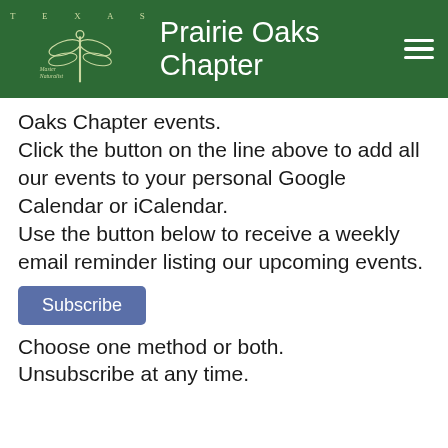TEXAS Master Naturalist — Prairie Oaks Chapter
Oaks Chapter events.
Click the button on the line above to add all our events to your personal Google Calendar or iCalendar.
Use the button below to receive a weekly email reminder listing our upcoming events.
Subscribe
Choose one method or both.
Unsubscribe at any time.